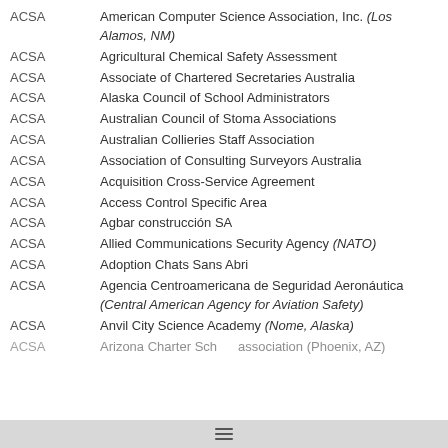ACSA — American Computer Science Association, Inc. (Los Alamos, NM)
ACSA — Agricultural Chemical Safety Assessment
ACSA — Associate of Chartered Secretaries Australia
ACSA — Alaska Council of School Administrators
ACSA — Australian Council of Stoma Associations
ACSA — Australian Collieries Staff Association
ACSA — Association of Consulting Surveyors Australia
ACSA — Acquisition Cross-Service Agreement
ACSA — Access Control Specific Area
ACSA — Agbar construcción SA
ACSA — Allied Communications Security Agency (NATO)
ACSA — Adoption Chats Sans Abri
ACSA — Agencia Centroamericana de Seguridad Aeronáutica (Central American Agency for Aviation Safety)
ACSA — Anvil City Science Academy (Nome, Alaska)
ACSA — Arizona Charter School association (Phoenix, AZ)